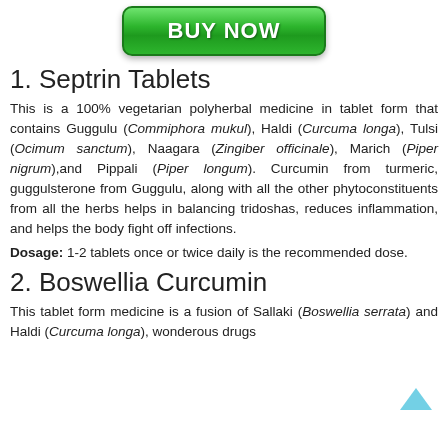[Figure (other): Green 'BUY NOW' button with rounded corners and gradient background]
1. Septrin Tablets
This is a 100% vegetarian polyherbal medicine in tablet form that contains Guggulu (Commiphora mukul), Haldi (Curcuma longa), Tulsi (Ocimum sanctum), Naagara (Zingiber officinale), Marich (Piper nigrum),and Pippali (Piper longum). Curcumin from turmeric, guggulsterone from Guggulu, along with all the other phytoconstituents from all the herbs helps in balancing tridoshas, reduces inflammation, and helps the body fight off infections.
Dosage: 1-2 tablets once or twice daily is the recommended dose.
2. Boswellia Curcumin
This tablet form medicine is a fusion of Sallaki (Boswellia serrata) and Haldi (Curcuma longa), wonderous drugs